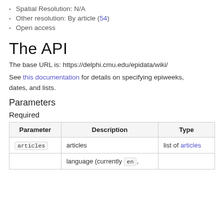Spatial Resolution: N/A
Other resolution: By article (54)
Open access
The API
The base URL is: https://delphi.cmu.edu/epidata/wiki/
See this documentation for details on specifying epiweeks, dates, and lists.
Parameters
Required
| Parameter | Description | Type |
| --- | --- | --- |
| articles | articles | list of articles |
|  | language (currently en, |  |